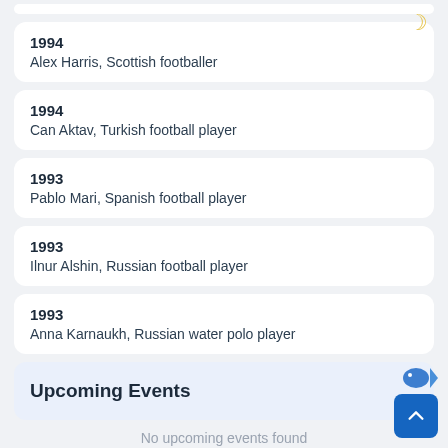1994
Alex Harris, Scottish footballer
1994
Can Aktav, Turkish football player
1993
Pablo Mari, Spanish football player
1993
Ilnur Alshin, Russian football player
1993
Anna Karnaukh, Russian water polo player
Upcoming Events
No upcoming events found